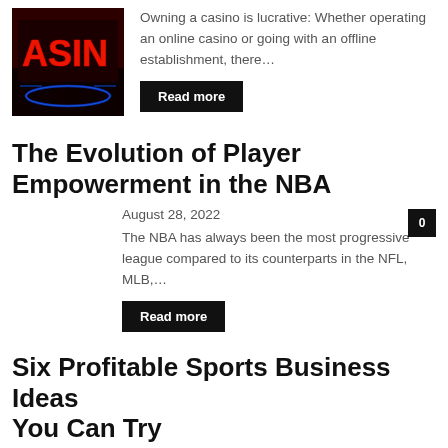[Figure (photo): Casino neon sign showing 'ASIN' in red neon letters against a dark background with blue neon accents]
Owning a casino is lucrative: Whether operating an online casino or going with an offline establishment, there…
Read more
The Evolution of Player Empowerment in the NBA
August 28, 2022
0
The NBA has always been the most progressive league compared to its counterparts in the NFL, MLB,…
Read more
Six Profitable Sports Business Ideas You Can Try